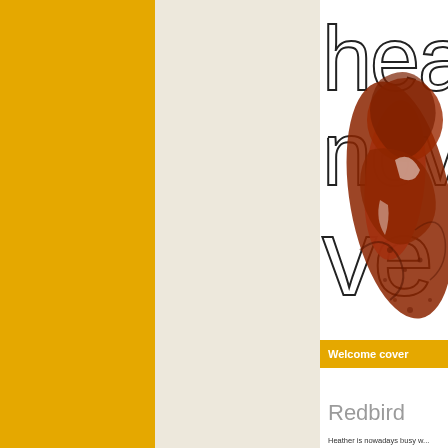[Figure (illustration): Decorative cover image with large light-outlined text reading 'hea', 'nov', 've' stacked vertically, overlaid with a red/brown brushstroke animal illustration on a white background]
Welcome cover
Redbird
Heather is nowadays busy w... which is good news!The new... track list is as follows: